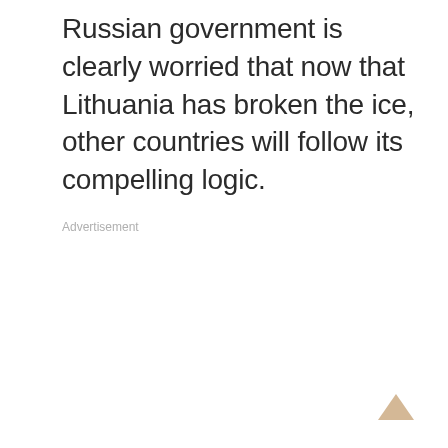Russian government is clearly worried that now that Lithuania has broken the ice, other countries will follow its compelling logic.
Advertisement